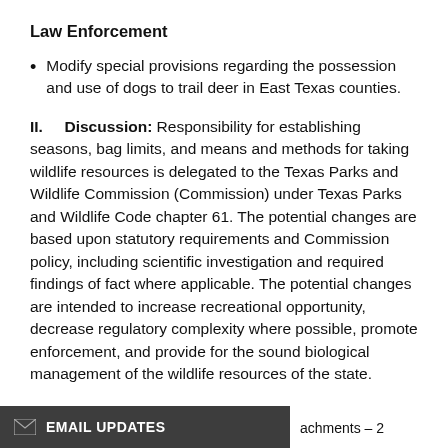Law Enforcement
Modify special provisions regarding the possession and use of dogs to trail deer in East Texas counties.
II.  Discussion:  Responsibility for establishing seasons, bag limits, and means and methods for taking wildlife resources is delegated to the Texas Parks and Wildlife Commission (Commission) under Texas Parks and Wildlife Code chapter 61.  The potential changes are based upon statutory requirements and Commission policy, including scientific investigation and required findings of fact where applicable. The potential changes are intended to increase recreational opportunity, decrease regulatory complexity where possible, promote enforcement, and provide for the sound biological management of the wildlife resources of the state.
achments – 2